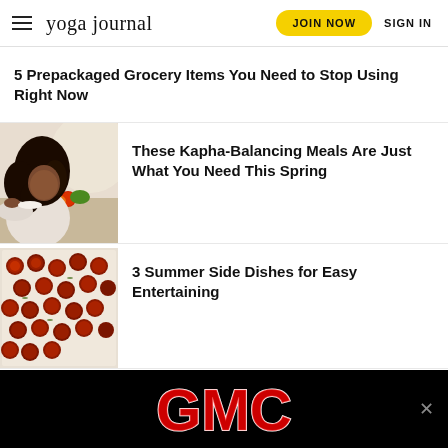yoga journal | JOIN NOW | SIGN IN
5 Prepackaged Grocery Items You Need to Stop Using Right Now
[Figure (photo): Woman leaning over colorful vegetables on a table]
These Kapha-Balancing Meals Are Just What You Need This Spring
[Figure (photo): Roasted cherry tomatoes on a baking sheet]
3 Summer Side Dishes for Easy Entertaining
[Figure (logo): GMC logo advertisement banner on black background]